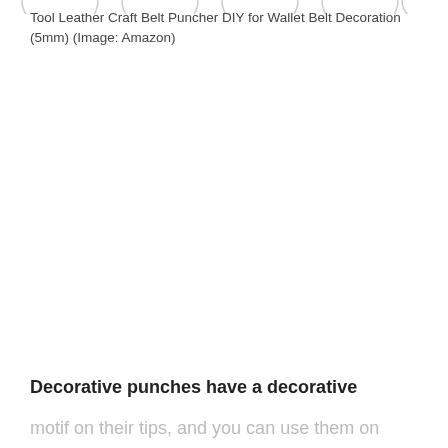[Figure (illustration): Partial view of circular tool/product images at the top of the page, mostly cropped off]
Tool Leather Craft Belt Puncher DIY for Wallet Belt Decoration (5mm) (Image: Amazon)
Decorative punches have a decorative
motif on their tips, and you can use them on metals, leather, and paper. These